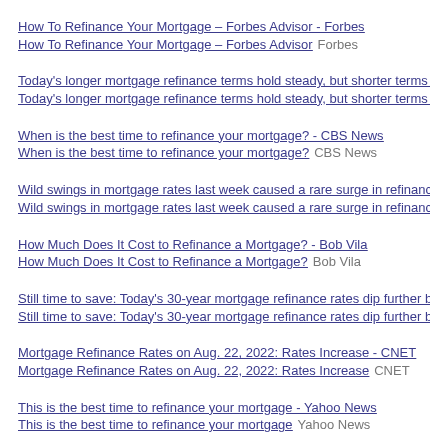How To Refinance Your Mortgage – Forbes Advisor - Forbes
How To Refinance Your Mortgage – Forbes Advisor  Forbes
Today's longer mortgage refinance terms hold steady, but shorter terms offer bett…
Today's longer mortgage refinance terms hold steady, but shorter terms offer bett…
When is the best time to refinance your mortgage? - CBS News
When is the best time to refinance your mortgage?  CBS News
Wild swings in mortgage rates last week caused a rare surge in refinancing - CNE…
Wild swings in mortgage rates last week caused a rare surge in refinancing  CNE…
How Much Does It Cost to Refinance a Mortgage? - Bob Vila
How Much Does It Cost to Refinance a Mortgage?  Bob Vila
Still time to save: Today's 30-year mortgage refinance rates dip further below 5%…
Still time to save: Today's 30-year mortgage refinance rates dip further below 5%…
Mortgage Refinance Rates on Aug. 22, 2022: Rates Increase - CNET
Mortgage Refinance Rates on Aug. 22, 2022: Rates Increase  CNET
This is the best time to refinance your mortgage - Yahoo News
This is the best time to refinance your mortgage  Yahoo News